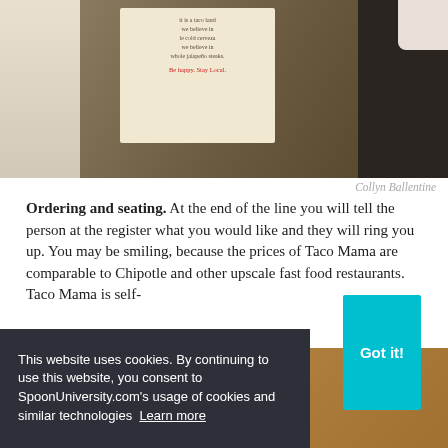[Figure (photo): A hand holding a card with cursive text, resting on a dark surface. The card appears to have a light beige/cream background with small printed text.]
Collyn Ballentine
Ordering and seating. At the end of the line you will tell the person at the register what you would like and they will ring you up. You may be smiling, because the prices of Taco Mama are comparable to Chipotle and other upscale fast food restaurants. Taco Mama is self-
[Figure (infographic): Advertisement banner with teal/green gradient background reading 'GO AHEAD, play WITH YOUR FOOD' with sparkle/star decorations and a donut emoji. An X close button appears in the top right corner.]
e.
This website uses cookies. By continuing to use this website, you consent to SpoonUniversity.com's usage of cookies and similar technologies  Learn more
Got it!
[Figure (photo): Bottom portion showing wood furniture/table surface.]